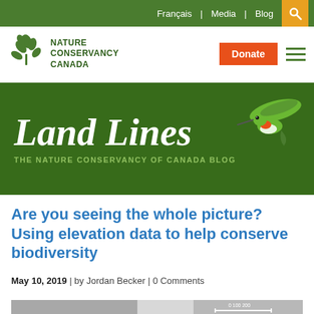Français | Media | Blog
[Figure (logo): Nature Conservancy Canada logo with maple leaf icon and text NATURE CONSERVANCY CANADA, plus Donate button and hamburger menu]
[Figure (illustration): Land Lines — The Nature Conservancy of Canada Blog banner with green background, italic serif Land Lines title, and hummingbird illustration]
Are you seeing the whole picture? Using elevation data to help conserve biodiversity
May 10, 2019 | by Jordan Becker | 0 Comments
[Figure (photo): Partial grayscale map or aerial image at bottom of page]